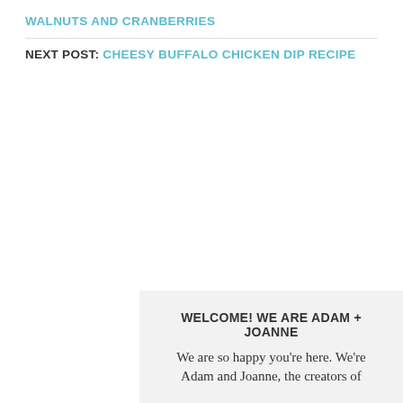WALNUTS AND CRANBERRIES
NEXT POST: CHEESY BUFFALO CHICKEN DIP RECIPE
WELCOME! WE ARE ADAM + JOANNE
We are so happy you’re here. We’re Adam and Joanne, the creators of